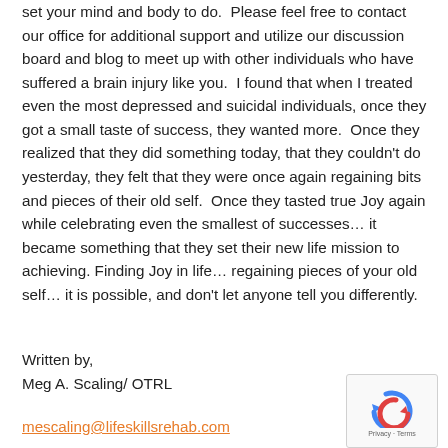set your mind and body to do.  Please feel free to contact our office for additional support and utilize our discussion board and blog to meet up with other individuals who have suffered a brain injury like you.  I found that when I treated even the most depressed and suicidal individuals, once they got a small taste of success, they wanted more.  Once they realized that they did something today, that they couldn't do yesterday, they felt that they were once again regaining bits and pieces of their old self.  Once they tasted true Joy again while celebrating even the smallest of successes… it became something that they set their new life mission to achieving. Finding Joy in life… regaining pieces of your old self… it is possible, and don't let anyone tell you differently.
Written by,
Meg A. Scaling/ OTRL
mescaling@lifeskillsrehab.com
[Figure (other): reCAPTCHA privacy widget with circular arrow icon and Privacy · Terms text]